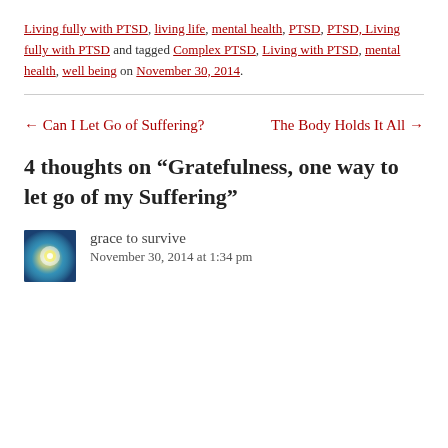Living fully with PTSD, living life, mental health, PTSD, PTSD, Living fully with PTSD and tagged Complex PTSD, Living with PTSD, mental health, well being on November 30, 2014.
← Can I Let Go of Suffering?    The Body Holds It All →
4 thoughts on “Gratefulness, one way to let go of my Suffering”
grace to survive
November 30, 2014 at 1:34 pm